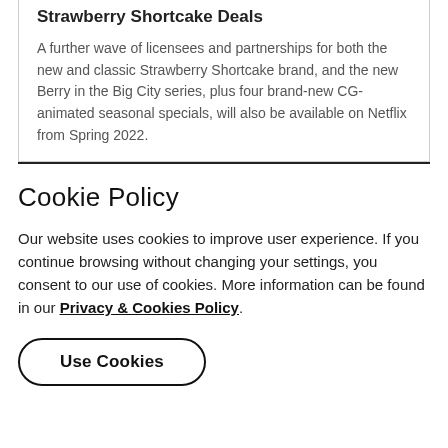Strawberry Shortcake Deals
A further wave of licensees and partnerships for both the new and classic Strawberry Shortcake brand, and the new Berry in the Big City series, plus four brand-new CG-animated seasonal specials, will also be available on Netflix from Spring 2022.
Cookie Policy
Our website uses cookies to improve user experience. If you continue browsing without changing your settings, you consent to our use of cookies. More information can be found in our Privacy & Cookies Policy.
Use Cookies